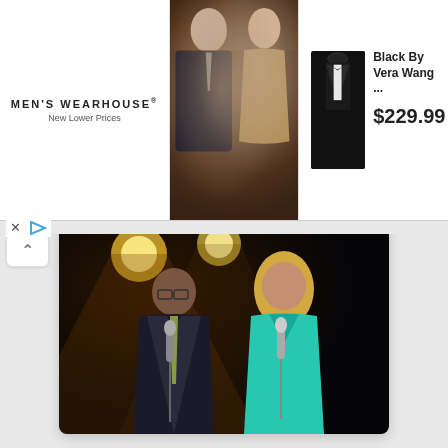[Figure (photo): Men's Wearhouse advertisement banner with couple in formalwear and tuxedo product image, priced at $229.99 (Black By Vera Wang)]
MEN'S WEARHOUSE® New Lower Prices
Black By Vera Wang ...
$229.99
[Figure (photo): Two singers performing on stage with microphones: a man in a dark suit with glasses and a woman in a teal dress]
08/21
08:00 pm
Swedish House Mafia
Ball Arena in Denver, CO
[Figure (photo): Swedish House Mafia performer on stage with dramatic lighting]